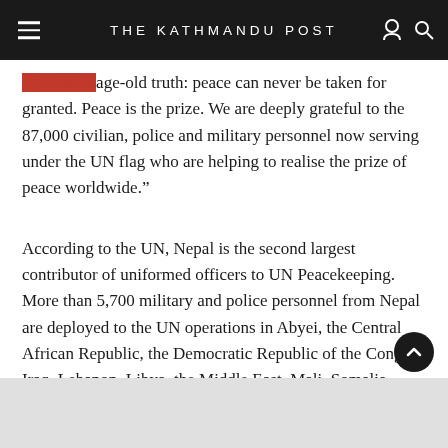THE KATHMANDU POST
age-old truth: peace can never be taken for granted. Peace is the prize. We are deeply grateful to the 87,000 civilian, police and military personnel now serving under the UN flag who are helping to realise the prize of peace worldwide.”
According to the UN, Nepal is the second largest contributor of uniformed officers to UN Peacekeeping. More than 5,700 military and police personnel from Nepal are deployed to the UN operations in Abyei, the Central African Republic, the Democratic Republic of the Congo, Iraq, Lebanon, Libya, the Middle East, Mali, Somalia, South Sudan, and Western Sahara.